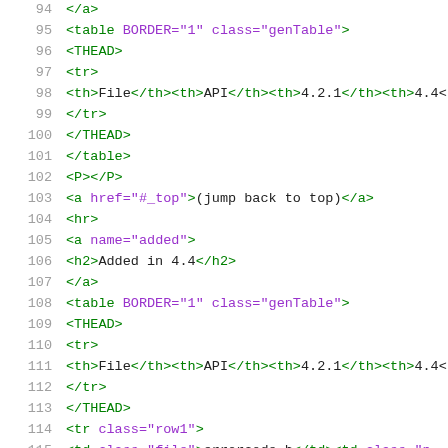Code viewer showing HTML source lines 94–115
94   </a>
95   <table BORDER="1" class="genTable">
96   <THEAD>
97   <tr>
98   <th>File</th><th>API</th><th>4.2.1</th><th>4.4<
99   </tr>
100  </THEAD>
101  </table>
102  <P></P>
103  <a href="#_top">(jump back to top)</a>
104  <hr>
105  <a name="added">
106  <h2>Added in 4.4</h2>
107  </a>
108  <table BORDER="1" class="genTable">
109  <THEAD>
110  <tr>
111  <th>File</th><th>API</th><th>4.2.1</th><th>4.4<
112  </tr>
113  </THEAD>
114  <tr class="row1">
115  <td class="file">errorcode.h</td><td class="p